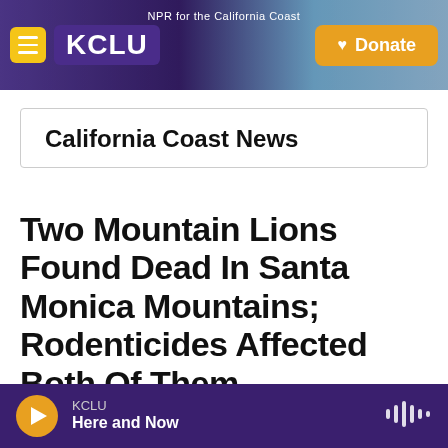[Figure (screenshot): KCLU NPR radio station website header banner with logo, hamburger menu, and Donate button over a coastal city background image]
California Coast News
Two Mountain Lions Found Dead In Santa Monica Mountains; Rodenticides Affected Both Of Them
KCLU Here and Now